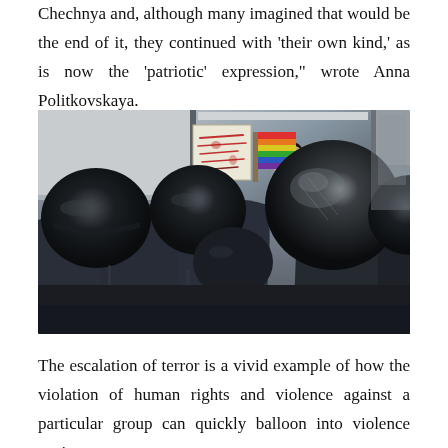Chechnya and, although many imagined that would be the end of it, they continued with ‘their own kind,’ as is now the ‘patriotic’ expression,” wrote Anna Politkovskaya.
[Figure (photo): A person holding a rainbow flag and a protest sign shouting from inside the back of a white van, surrounded by riot police in dark uniforms and black helmets pressing in from all sides.]
The escalation of terror is a vivid example of how the violation of human rights and violence against a particular group can quickly balloon into violence against everyone.